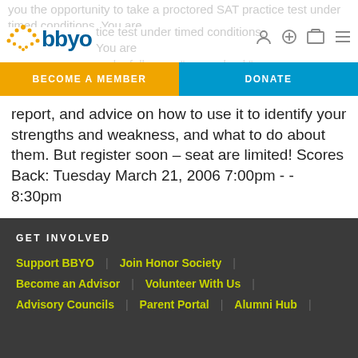you the opportunity to take a proctored SAT practice test under timed conditions. You are ... and a follow-up "scores back"
[Figure (logo): BBYO logo with orange menorah icon and blue BBYO text]
BECOME A MEMBER | DONATE
report, and advice on how to use it to identify your strengths and weakness, and what to do about them. But register soon – seat are limited! Scores Back: Tuesday March 21, 2006 7:00pm - - 8:30pm
Cost: $10.00
GET INVOLVED
Support BBYO | Join Honor Society | 
Become an Advisor | Volunteer With Us |
Advisory Councils | Parent Portal | Alumni Hub |